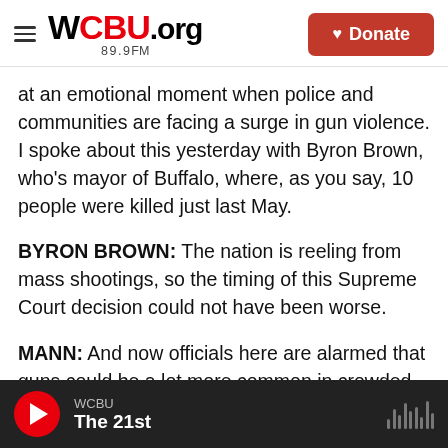WCBU.org 89.9FM | Donate
at an emotional moment when police and communities are facing a surge in gun violence. I spoke about this yesterday with Byron Brown, who's mayor of Buffalo, where, as you say, 10 people were killed just last May.
BYRON BROWN: The nation is reeling from mass shootings, so the timing of this Supreme Court decision could not have been worse.
MANN: And now officials here are alarmed that guns could be a lot more common in crowded places, like New York City's subway system, Times
WCBU | The 21st